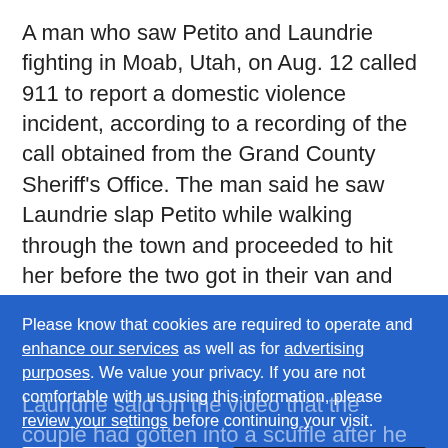A man who saw Petito and Laundrie fighting in Moab, Utah, on Aug. 12 called 911 to report a domestic violence incident, according to a recording of the call obtained from the Grand County Sheriff's Office. The man said he saw Laundrie slap Petito while walking through the town and proceeded to hit her before the two got in their van and drove off.
Video released by the Moab police showed that an officer pulled the couple's van over on the same day...
Please know that cookies are required to operate and enhance our services as well as for advertising purposes. We value your privacy. If you are not comfortable with us using this information, please review your settings before continuing your visit.
Learn more
✕ Close
Laundrie said on the video that the couple had gotten into a scuffle after he claimed she hit him with dirty feet. He said he did not want to pursue a domestic...